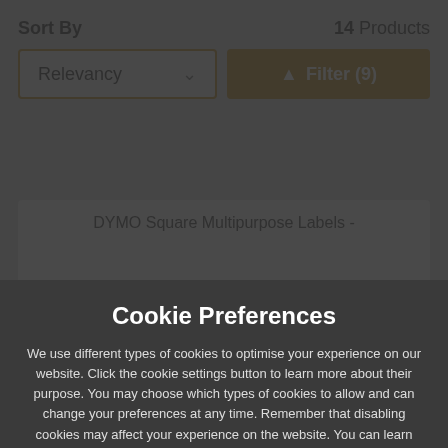Sort By
14 Products
Relevancy
Filter (9)
DYMO Square Multipurpose Labels -
Cookie Preferences
We use different types of cookies to optimise your experience on our website. Click the cookie settings button to learn more about their purpose. You may choose which types of cookies to allow and can change your preferences at any time. Remember that disabling cookies may affect your experience on the website. You can learn about how we use cookies by viewing our Cookie Policy.
Amend Your Preference
Accept All Cookies